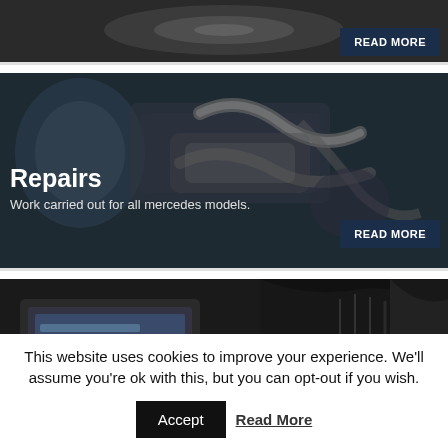[Figure (photo): Partial view of a car/engine component, dark metallic, with a READ MORE button overlay in bottom right]
[Figure (photo): Close-up of a Mercedes engine bay showing metallic engine parts. Text overlay reads 'Repairs' and 'Work carried out for all mercedes models.' with a READ MORE button]
[Figure (photo): Partial view of a car interior/diagnostic screen, dark tones]
This website uses cookies to improve your experience. We'll assume you're ok with this, but you can opt-out if you wish.
Accept
Read More